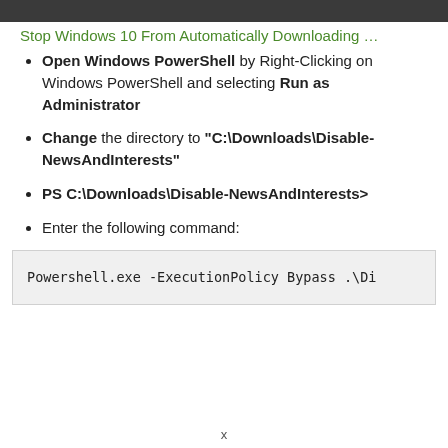Stop Windows 10 From Automatically Downloading …
Open Windows PowerShell by Right-Clicking on Windows PowerShell and selecting Run as Administrator
Change the directory to "C:\Downloads\Disable-NewsAndInterests"
PS C:\Downloads\Disable-NewsAndInterests>
Enter the following command:
Powershell.exe -ExecutionPolicy Bypass .\Di